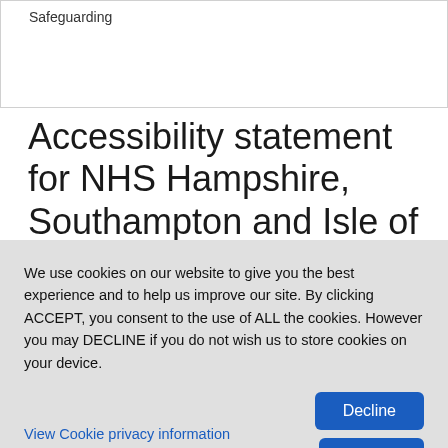Safeguarding
Accessibility statement for NHS Hampshire, Southampton and Isle of Wight Clinical Commissioning Group website
We use cookies on our website to give you the best experience and to help us improve our site. By clicking ACCEPT, you consent to the use of ALL the cookies. However you may DECLINE if you do not wish us to store cookies on your device.
View Cookie privacy information
Decline
Accept